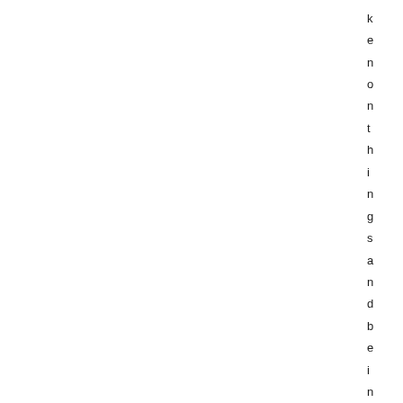k e n o n t h i n g s a n d b e i n